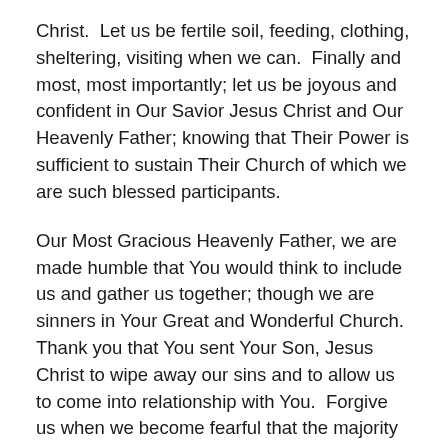Christ.  Let us be fertile soil, feeding, clothing, sheltering, visiting when we can.  Finally and most, most importantly; let us be joyous and confident in Our Savior Jesus Christ and Our Heavenly Father; knowing that Their Power is sufficient to sustain Their Church of which we are such blessed participants.
Our Most Gracious Heavenly Father, we are made humble that You would think to include us and gather us together; though we are sinners in Your Great and Wonderful Church.  Thank you that You sent Your Son, Jesus Christ to wipe away our sins and to allow us to come into relationship with You.  Forgive us when we become fearful that the majority of the world, though hearing Your message, refuse to follow it.  Pour out Your strength upon us that we would continue in love, humility and with boldness to proclaim Your Word of love to all the...